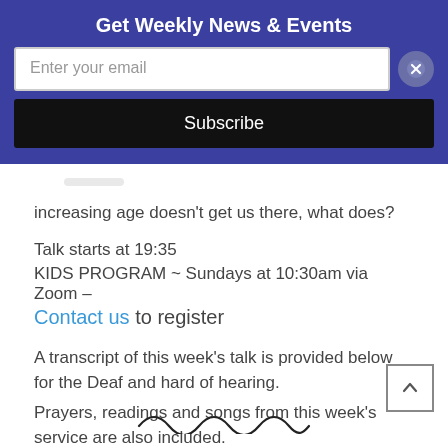Get Weekly News & Events
Enter your email
Subscribe
increasing age doesn't get us there, what does?
Talk starts at 19:35
KIDS PROGRAM ~ Sundays at 10:30am via Zoom –
Contact us to register
A transcript of this week's talk is provided below for the Deaf and hard of hearing.
Prayers, readings and songs from this week's service are also included.